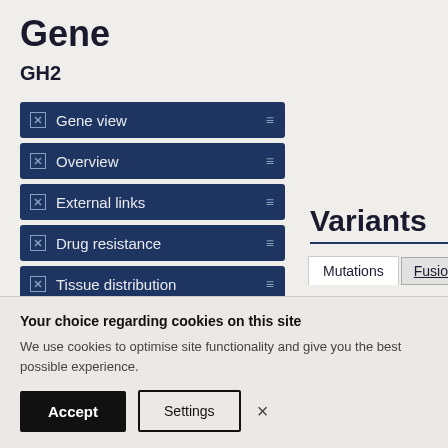Gene
GH2
Gene view
Overview
External links
Drug resistance
Tissue distribution
Genome browser
Mutation distribution
Variants
Mutations | Fusions
This tab displays a table of muta
Your choice regarding cookies on this site
We use cookies to optimise site functionality and give you the best possible experience.
Accept   Settings   ×